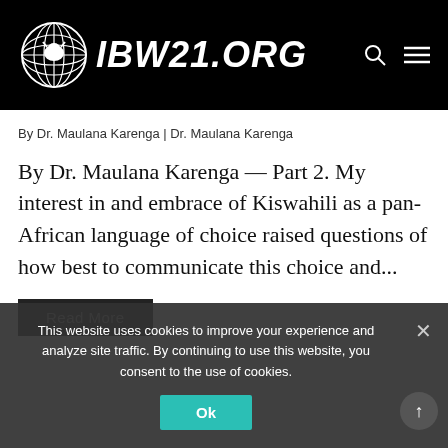IBW21.ORG
By Dr. Maulana Karenga | Dr. Maulana Karenga
By Dr. Maulana Karenga — Part 2. My interest in and embrace of Kiswahili as a pan-African language of choice raised questions of how best to communicate this choice and...
Read More
This website uses cookies to improve your experience and analyze site traffic. By continuing to use this website, you consent to the use of cookies.
Ok